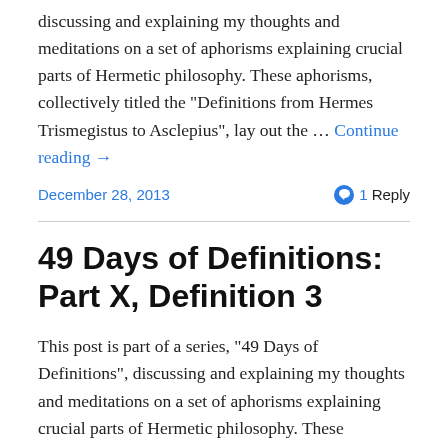discussing and explaining my thoughts and meditations on a set of aphorisms explaining crucial parts of Hermetic philosophy. These aphorisms, collectively titled the “Definitions from Hermes Trismegistus to Asclepius”, lay out the … Continue reading →
December 28, 2013
1 Reply
49 Days of Definitions: Part X, Definition 3
This post is part of a series, “49 Days of Definitions”, discussing and explaining my thoughts and meditations on a set of aphorisms explaining crucial parts of Hermetic philosophy. These aphorisms, collectively titled the “Definitions from Hermes Trismegistus to Asclepius”, lay